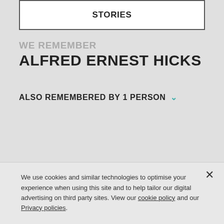STORIES
WE REMEMBER
ALFRED ERNEST HICKS
ALSO REMEMBERED BY 1 PERSON
We use cookies and similar technologies to optimise your experience when using this site and to help tailor our digital advertising on third party sites. View our cookie policy and our Privacy policies.